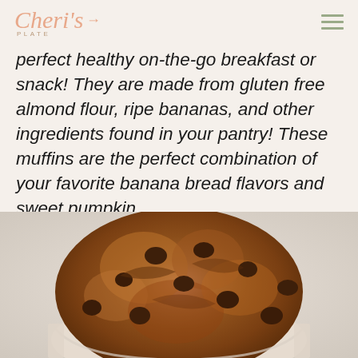Cheri's Plate [logo with fork icon and hamburger menu]
perfect healthy on-the-go breakfast or snack! They are made from gluten free almond flour, ripe bananas, and other ingredients found in your pantry! These muffins are the perfect combination of your favorite banana bread flavors and sweet pumpkin.
[Figure (photo): Close-up photo of a pumpkin banana muffin with chocolate chips on top, placed in a parchment paper liner, on a light background.]